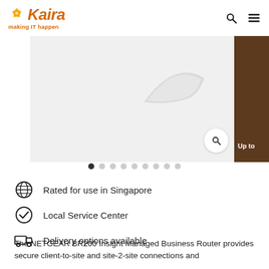[Figure (logo): Kaira logo with orange star and italic orange text 'Kaira' with tagline 'making IT happen']
[Figure (screenshot): Product image slider showing a partial product image (curved silver/white object) in main panel, with a search magnifying glass icon overlay, a narrow side panel with brown/wood background showing 'Up to' text, and a narrow white left strip. Below are 9 pagination dots with the first dot filled/active.]
Rated for use in Singapore
Local Service Center
Delivery options available
The NETGEAR BR200 Insight Managed Business Router provides secure client-to-site and site-2-site connections and